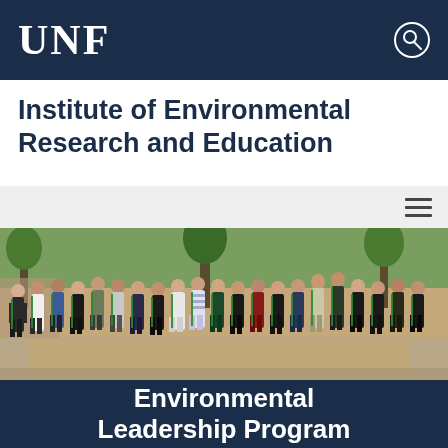UNF
Institute of Environmental Research and Education
[Figure (photo): Group photo of approximately 20 students wearing green sashes/stoles standing outdoors on a campus walkway with trees in the background, part of the Environmental Leadership Program]
Environmental Leadership Program